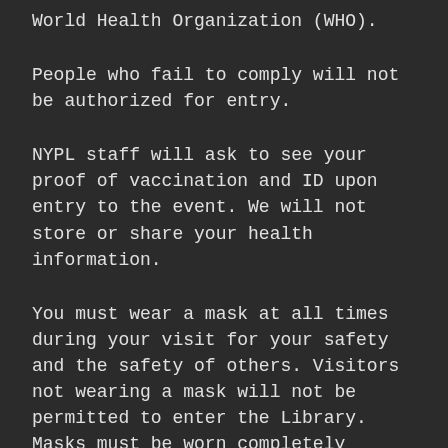World Health Organization (WHO).
People who fail to comply will not be authorized for entry.
NYPL staff will ask to see your proof of vaccination and ID upon entry to the event. We will not store or share your health information.
You must wear a mask at all times during your visit for your safety and the safety of others. Visitors not wearing a mask will not be permitted to enter the Library. Masks must be worn completely covering your nose and mouth and secured under your chin.
All policies are subject to change at NYPL's sole discretion and without notice. By attending an event at the library, you voluntarily assume all risks related to